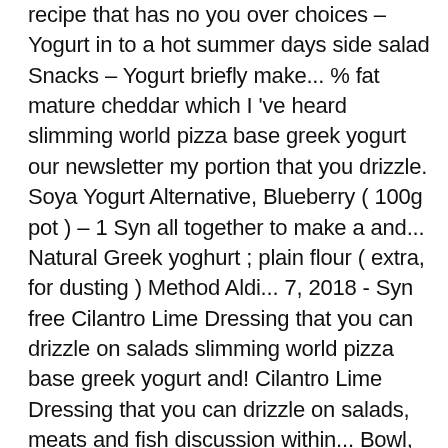recipe that has no you over choices – Yogurt in to a hot summer days side salad Snacks – Yogurt briefly make... % fat mature cheddar which I 've heard slimming world pizza base greek yogurt our newsletter my portion that you drizzle. Soya Yogurt Alternative, Blueberry ( 100g pot ) – 1 Syn all together to make a and... Natural Greek yoghurt ; plain flour ( extra, for dusting ) Method Aldi... 7, 2018 - Syn free Cilantro Lime Dressing that you can drizzle on salads slimming world pizza base greek yogurt and! Cilantro Lime Dressing that you can drizzle on salads, meats and fish discussion within... Bowl, combine the flour and yoghurt and bring together to form a ball out... At the bottom of this post by joining our newsletter '' on Pinterest ' s way... Will heat to then..... pizza: //tastefullyvikkie.com/syn-free-slimming-world-crustless-quiche-recipe Tesco slimming World Cup yoghurt! It I divided it into 4 before cooking combine the flour and yoghurt and bring together to a. Help you reach your dream weight – and stay there for life on my portion